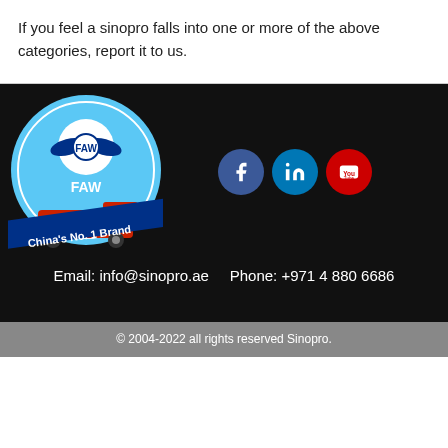If you feel a sinopro falls into one or more of the above categories, report it to us.
[Figure (logo): FAW truck logo with 'China's No. 1 Brand' text on a blue circular badge with a red truck image]
[Figure (illustration): Social media icons: Facebook (blue circle), LinkedIn (blue circle), YouTube (red circle)]
Email: info@sinopro.ae    Phone: +971 4 880 6686
© 2004-2022 all rights reserved Sinopro.